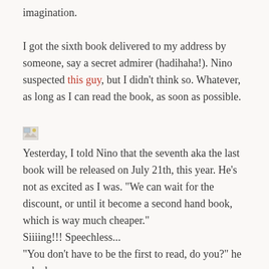imagination.
I got the sixth book delivered to my address by someone, say a secret admirer (hadihaha!). Nino suspected this guy, but I didn't think so. Whatever, as long as I can read the book, as soon as possible.
[Figure (photo): Broken/missing image placeholder icon]
Yesterday, I told Nino that the seventh aka the last book will be released on July 21th, this year. He's not as excited as I was. "We can wait for the discount, or until it become a second hand book, which is way much cheaper."
Siiiing!!! Speechless...
"You don't have to be the first to read, do you?" he asked.
"I do, Darling. If I don't, why do you think I bring this conversation?" I sighed.
I'll tell you why I must get this book asap. Australia will be the first country where it is released (depends on the time zone). If I can get